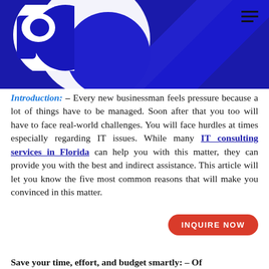[Figure (illustration): Dark blue hero banner with a large white circle/partial circle logo shape (letter P style), diagonal stripe design elements in blue, and a hamburger menu icon in the top right corner.]
Introduction: – Every new businessman feels pressure because a lot of things have to be managed. Soon after that you too will have to face real-world challenges. You will face hurdles at times especially regarding IT issues. While many IT consulting services in Florida can help you with this matter, they can provide you with the best and indirect assistance. This article will let you know the five most common reasons that will make you convinced in this matter.
Save your time, effort, and budget smartly: – Of